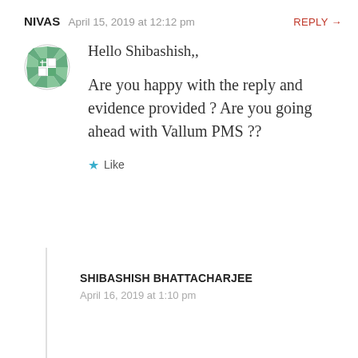NIVAS  April 15, 2019 at 12:12 pm  REPLY →
[Figure (illustration): Green geometric/mosaic avatar icon for user NIVAS]
Hello Shibashish,,
Are you happy with the reply and evidence provided ? Are you going ahead with Vallum PMS ??
★ Like
SHIBASHISH BHATTACHARJEE
April 16, 2019 at 1:10 pm